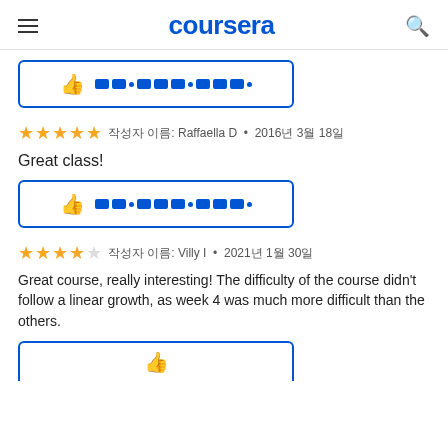coursera
[Figure (other): Thumbs up like button with redacted text, blue border box]
작성자 이름: Raffaella D · 2016년 3월 18일 (4.5 stars)
Great class!
[Figure (other): Thumbs up like button with redacted text, blue border box]
작성자 이름: Villy I · 2021년 1월 30일 (4 stars)
Great course, really interesting! The difficulty of the course didn't follow a linear growth, as week 4 was much more difficult than the others.
[Figure (other): Partial thumbs up like button box, bottom of page]